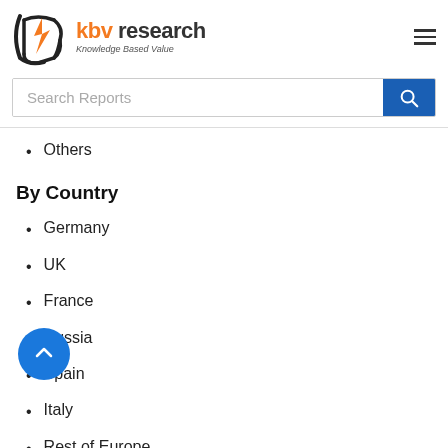kbv research - Knowledge Based Value
Others
By Country
Germany
UK
France
Russia
Spain
Italy
Rest of Europe